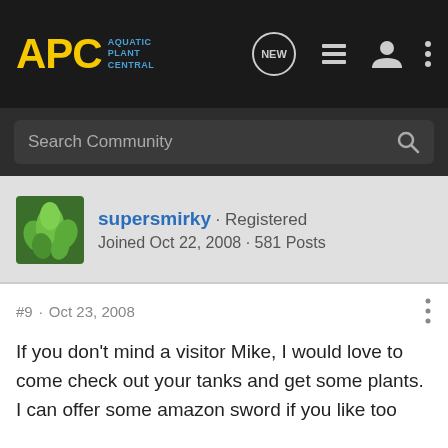APC Aquatic Plant Central
Search Community
supersmirky · Registered
Joined Oct 22, 2008 · 581 Posts
#9 · Oct 23, 2008
If you don't mind a visitor Mike, I would love to come check out your tanks and get some plants. I can offer some amazon sword if you like too